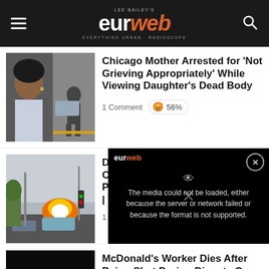Lee Bailey's eurweb - EVERYTHING URBAN + RADIOSCOPE
Chicago Mother Arrested for 'Not Grieving Appropriately' While Viewing Daughter's Dead Body
1 Comment  56%
Drive [partial] Crash [partial] Pregn[partial] | WAT[partial]
1 Comm[ent]
[Figure (screenshot): Video player overlay with error message: 'The media could not be loaded, either because the server or network failed or because the format is not supported.']
McDonald's Worker Dies After Being Shot During Dispute Over Cold French Fries | WATC[H]